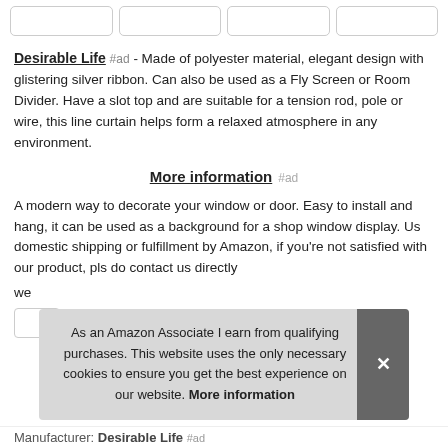[Figure (other): Row of four rectangular button/image placeholders at top]
Desirable Life #ad - Made of polyester material, elegant design with glistering silver ribbon. Can also be used as a Fly Screen or Room Divider. Have a slot top and are suitable for a tension rod, pole or wire, this line curtain helps form a relaxed atmosphere in any environment.
More information #ad
A modern way to decorate your window or door. Easy to install and hang, it can be used as a background for a shop window display. Us domestic shipping or fulfillment by Amazon, if you're not satisfied with our product, pls do contact us directly we …
As an Amazon Associate I earn from qualifying purchases. This website uses the only necessary cookies to ensure you get the best experience on our website. More information
Manufacturer: Desirable Life …